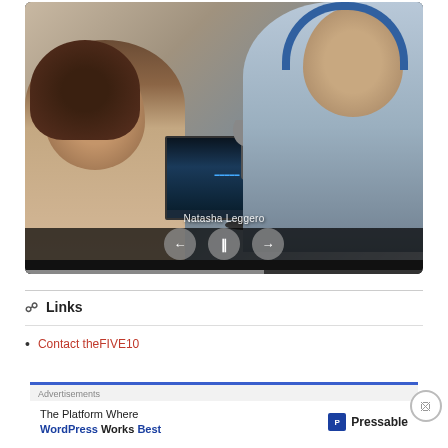[Figure (screenshot): Video/podcast player showing two people at a table with microphones. A woman with dark hair on the left holding a microphone, and a man on the right wearing blue headphones. A laptop with a software interface is visible between them. Playback controls (back, pause, forward) are shown at the bottom center of the video. The name 'Natasha Leggero' is overlaid at the bottom.]
Links
Contact theFIVE10
[Figure (screenshot): Advertisement banner. Label 'Advertisements' at top. Blue top border. Text: 'The Platform Where WordPress Works Best' with Pressable logo on the right.]